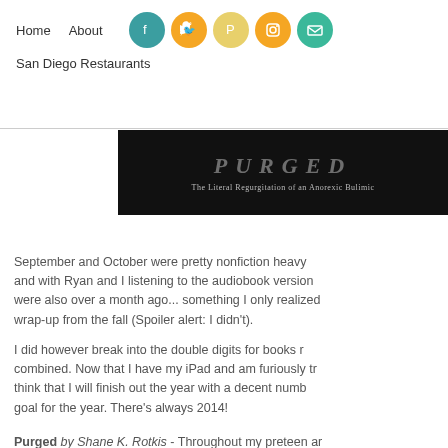Home  About  San Diego Restaurants
[Figure (illustration): Dark banner image with white decorative text reading 'PURGED' and subtitle 'The Literal Regurgitation of an Anorexic Bulimic']
September and October were pretty nonfiction heavy and with Ryan and I listening to the audiobook version were also over a month ago... something I only realized wrap-up from the fall (Spoiler alert: I didn't).
I did however break into the double digits for books r combined. Now that I have my iPad and am furiously t think that I will finish out the year with a decent numb goal for the year. There's always 2014!
Purged by Shane K. Rotkis - Throughout my preteen an